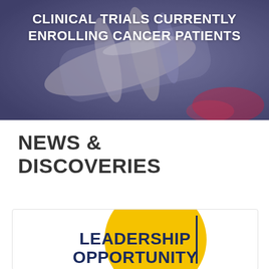[Figure (photo): Blurred photo of laboratory test tubes/vials in purple/blue tones used as hero background image]
CLINICAL TRIALS CURRENTLY ENROLLING CANCER PATIENTS
NEWS & DISCOVERIES
[Figure (infographic): Card with yellow circle graphic and bold dark navy text reading LEADERSHIP OPPORTUNITY with a vertical bar divider]